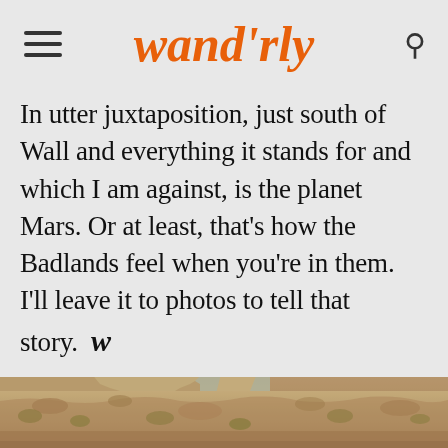wand'rly
In utter juxtaposition, just south of Wall and everything it stands for and which I am against, is the planet Mars. Or at least, that's how the Badlands feel when you're in them. I'll leave it to photos to tell that story.  w
[Figure (photo): Photograph of the Badlands rock formations under a blue sky, showing eroded buttes and spires of sandy/tan colored rock in a Mars-like landscape]